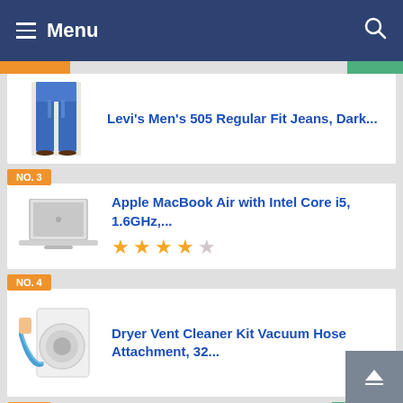Menu
Levi's Men's 505 Regular Fit Jeans, Dark...
NO. 3 — Apple MacBook Air with Intel Core i5, 1.6GHz,... (4 out of 5 stars)
NO. 4 — Dryer Vent Cleaner Kit Vacuum Hose Attachment, 32...
NO. 5 — Outlet Extender with Night...
SALE